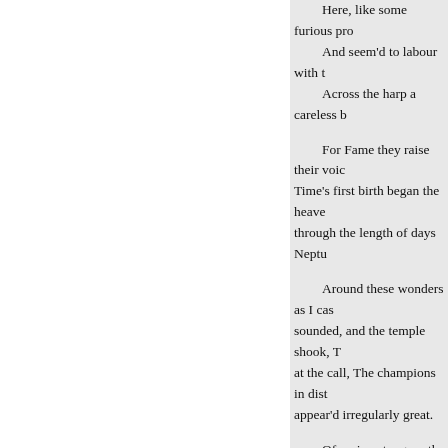Here, like some furious pro- / And seem'd to labour with t / Across the harp a careless b

For Fame they raise their voic- / Time's first birth began the heave- / through the length of days Neptu-

Around these wonders as I cas- / sounded, and the temple shook, T / at the call, The champions in dist- / appear'd irregularly great.

Of various tongues the mingle- / garbs promiscuous throngs appea- / with the spring renew Pleas'd wit-

Their fovery toils, and sip the

When the wing'd colonies first- / fields and shaded waters fly, A w-

Or, settling, seize the sweets th-

And a low murmur runs along

Millions of suppliant crouds th- / degrees before the goddess bend- / valiant, and the sage.